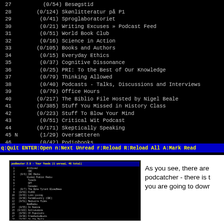[Figure (screenshot): Terminal/podcatcher application showing a numbered list of podcast feeds (items 27-46) on a black background with monochrome text. Items include Besøgstid (0/54), Skønlitteratur på P1 (0/124), Sproglaboratoriet (0/41), Writing Excuses Podcast Feed (0/21), World Book Club (0/51), Science in Action (0/16), Books and Authors (0/105), Everyday Ethics (0/15), Cognitive Dissonance (0/37), PRI: To the Best of Our Knowledge (0/25), Thinking Allowed (0/79), Podcasts - Talks, Discussions and Interviews (0/40), Office Hours (0/79), The Biblio File Hosted by Nigel Beale (0/217), Stuff You Missed in History Class (0/385), Stuff To Blow Your Mind (0/223), Critical Wit Podcast (0/51), Skeptically Speaking (0/171), Oversætteren N (1/29), Podiobooks (0/42). Status bar at bottom shows keyboard shortcuts.]
[Figure (screenshot): Small thumbnail screenshot of a similar podcatcher terminal application showing a similar list of podcast feeds.]
As you see, there are podcatcher - there is t you are going to dowr